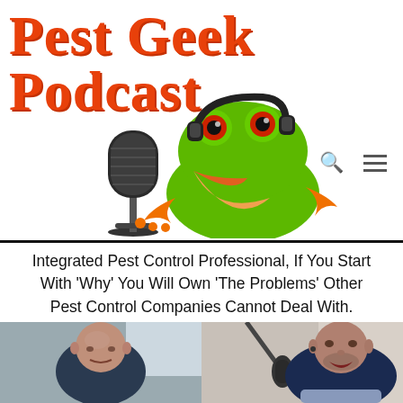Pest Geek Podcast
[Figure (illustration): Green tree frog wearing headphones sitting next to a silver vintage microphone, frog has red eyes and orange feet, mouth open]
Integrated Pest Control Professional, If You Start With ‘Why’ You Will Own ‘The Problems’ Other Pest Control Companies Cannot Deal With.
[Figure (photo): Two-panel video screenshot: left panel shows a bald man in a blue shirt; right panel shows another man speaking at a microphone in a blue shirt]